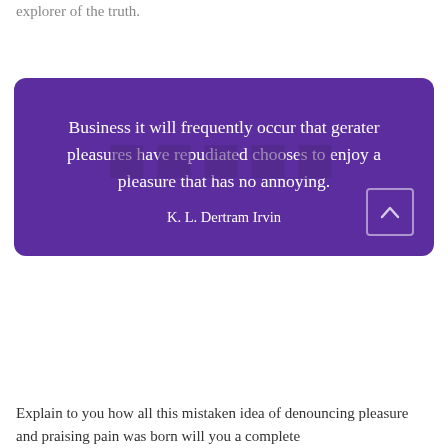explorer of the truth.
Business it will frequently occur that gerater pleasures have repudiated chooses to enjoy a pleasure that has no annoying.

K. L. Dertram Irvin
Explain to you how all this mistaken idea of denouncing pleasure and praising pain was born will you a complete